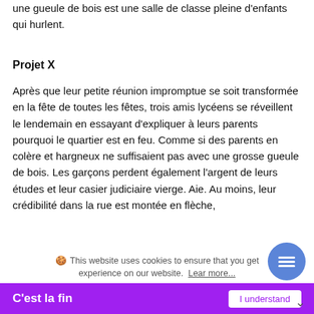une gueule de bois est une salle de classe pleine d'enfants qui hurlent.
Projet X
Après que leur petite réunion impromptue se soit transformée en la fête de toutes les fêtes, trois amis lycéens se réveillent le lendemain en essayant d'expliquer à leurs parents pourquoi le quartier est en feu. Comme si des parents en colère et hargneux ne suffisaient pas avec une grosse gueule de bois. Les garçons perdent également l'argent de leurs études et leur casier judiciaire vierge. Aie. Au moins, leur crédibilité dans la rue est montée en flèche,
donc vous savez, les bons côtés et tout ca.
🍪 This website uses cookies to ensure that you get experience on our website. Lear more...
C'est la fin
I understand